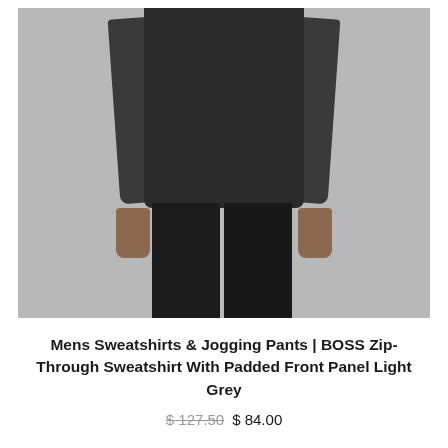[Figure (photo): A man wearing a dark grey/black BOSS zip-through sweatshirt with padded front panel and dark trousers, shown from neck to knees against a grey background.]
Mens Sweatshirts & Jogging Pants | BOSS Zip-Through Sweatshirt With Padded Front Panel Light Grey
$ 127.50 $ 84.00